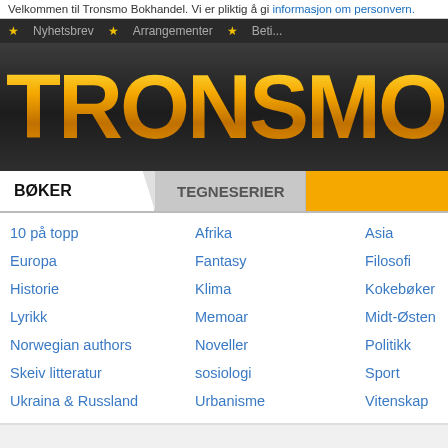Velkommen til Tronsmo Bokhandel. Vi er pliktig å gi informasjon om personvern.
Nyhetsbrev  Arrangementer  Beti...
[Figure (logo): Tronsmo bookstore logo — large golden metallic 'TRONSMO' text on dark background]
BØKER   TEGNESERIER
10 på topp
Afrika
Asia
Europa
Fantasy
Filosofi
Historie
Klima
Kokebøker
Lyrikk
Memoar
Midt-Østen
Norwegian authors
Noveller
Politikk
Skeiv litteratur
sosiologi
Sport
Ukraina & Russland
Urbanisme
Vitenskap
KJØP DEN NÅ!